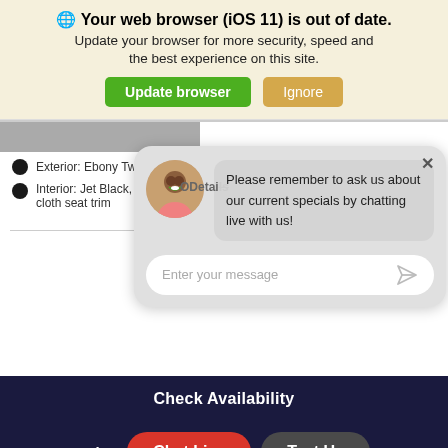[Figure (screenshot): Browser update warning banner with globe icon, bold title 'Your web browser (iOS 11) is out of date.', subtitle text, and two buttons: 'Update browser' (green) and 'Ignore' (tan/gold)]
Exterior: Ebony Twilight Metallic
Interior: Jet Black, Premium cloth seat trim
[Figure (screenshot): Live chat overlay with avatar photo of a young man, chat bubble saying 'Please remember to ask us about our current specials by chatting live with us!', and a text input field 'Enter your message' with send icon]
Check Availability
Value   Chat Live   Text Us
[Figure (screenshot): Bottom navigation bar with accessibility icon, car/What's My Car Worth?, Contact phone, and Search icons]